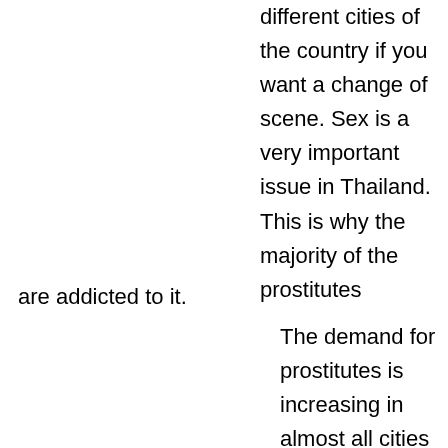different cities of the country if you want a change of scene. Sex is a very important issue in Thailand. This is why the majority of the prostitutes
are addicted to it.
The demand for prostitutes is increasing in almost all cities of Thailand. Sex can